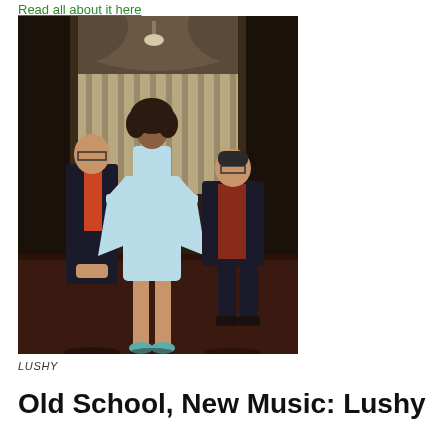Read all about it here
[Figure (photo): Three people posing inside a vintage train car or old-fashioned room. A tall woman in a light blue dress with flared sleeves stands in the center. A man in a dark suit with a red tie stands to the left. Another person in a dark suit sits to the right. The setting has arched wooden details and patterned upholstery.]
LUSHY
Old School, New Music: Lushy